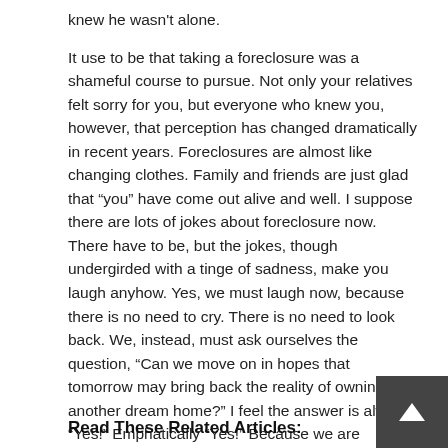knew he wasn't alone.
It use to be that taking a foreclosure was a shameful course to pursue. Not only your relatives felt sorry for you, but everyone who knew you, however, that perception has changed dramatically in recent years. Foreclosures are almost like changing clothes. Family and friends are just glad that “you” have come out alive and well. I suppose there are lots of jokes about foreclosure now. There have to be, but the jokes, though undergirded with a tinge of sadness, make you laugh anyhow. Yes, we must laugh now, because there is no need to cry. There is no need to look back. We, instead, must ask ourselves the question, “Can we move on in hopes that tomorrow may bring back the reality of owning another dream home?” I feel the answer is always “Yes!” Emphatically “Yes!” Because we are survivors!
Read These Related Articles: